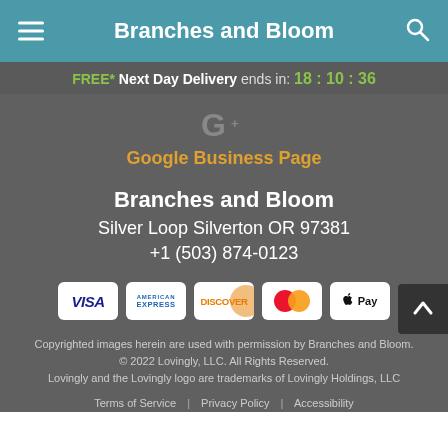Branches and Bloom
FREE* Next Day Delivery ends in: 18 : 10 : 36
[Figure (logo): Google G+ logo icon]
Google Business Page
Branches and Bloom
Silver Loop Silverton OR 97381
+1 (503) 874-0123
[Figure (other): Payment method icons: Visa, American Express, Discover, Mastercard, Apple Pay]
Copyrighted images herein are used with permission by Branches and Bloom.
© 2022 Lovingly, LLC. All Rights Reserved.
Lovingly and the Lovingly logo are trademarks of Lovingly Holdings, LLC
Terms of Service | Privacy Policy | Accessibility